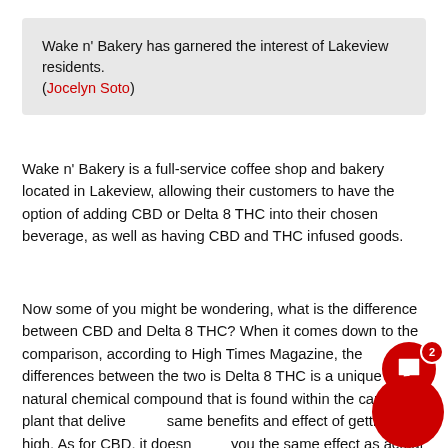Wake n' Bakery has garnered the interest of Lakeview residents. (Jocelyn Soto)
Wake n' Bakery is a full-service coffee shop and bakery located in Lakeview, allowing their customers to have the option of adding CBD or Delta 8 THC into their chosen beverage, as well as having CBD and THC infused goods.
Now some of you might be wondering, what is the difference between CBD and Delta 8 THC? When it comes down to the comparison, according to High Times Magazine, the differences between the two is Delta 8 THC is a unique and natural chemical compound that is found within the cannabis plant that delivers the same benefits and effect of getting high. As for CBD, it doesn't give you the same effect as actual THC but rather used for relief of anxiety, depression or any stress.